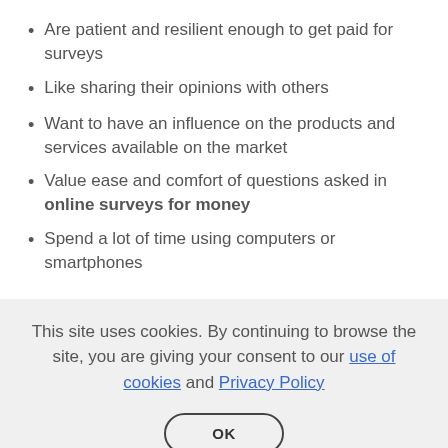Are patient and resilient enough to get paid for surveys
Like sharing their opinions with others
Want to have an influence on the products and services available on the market
Value ease and comfort of questions asked in online surveys for money
Spend a lot of time using computers or smartphones
This site uses cookies. By continuing to browse the site, you are giving your consent to our use of cookies and Privacy Policy